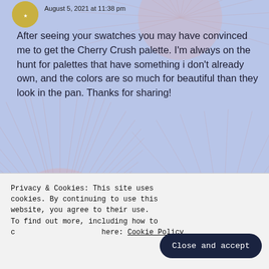August 5, 2021 at 11:38 pm
After seeing your swatches you may have convinced me to get the Cherry Crush palette. I'm always on the hunt for palettes that have something i don't already own, and the colors are so much for beautiful than they look in the pan. Thanks for sharing!
Liked by 1 person
REPLY
aspoonjesmakeupbag
Privacy & Cookies: This site uses cookies. By continuing to use this website, you agree to their use. To find out more, including how to control cookies, see here: Cookie Policy